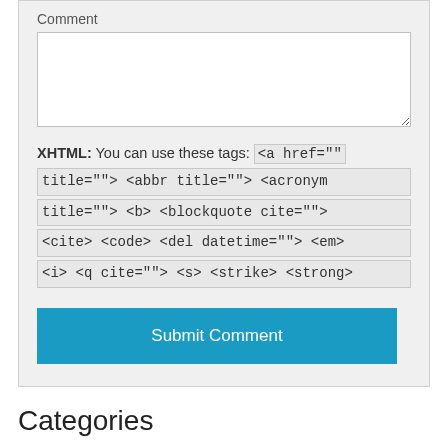Comment
XHTML: You can use these tags: <a href="" title=""> <abbr title=""> <acronym title=""> <b> <blockquote cite=""> <cite> <code> <del datetime=""> <em> <i> <q cite=""> <s> <strike> <strong>
Submit Comment
Categories
Abandoned mines